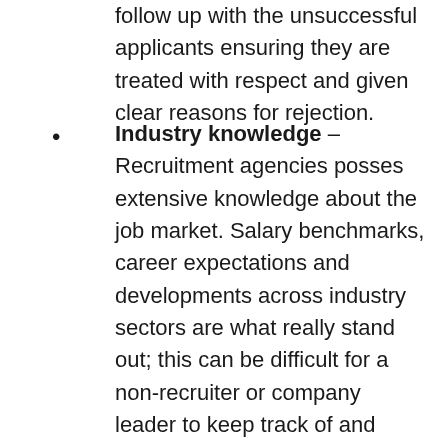follow up with the unsuccessful applicants ensuring they are treated with respect and given clear reasons for rejection.
Industry knowledge – Recruitment agencies posses extensive knowledge about the job market. Salary benchmarks, career expectations and developments across industry sectors are what really stand out; this can be difficult for a non-recruiter or company leader to keep track of and ensure candidates receive industry-standard remuneration.